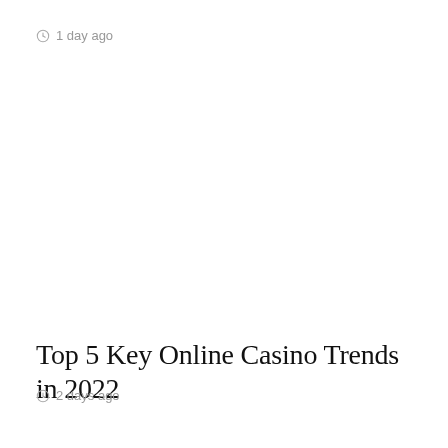1 day ago
Top 5 Key Online Casino Trends in 2022
2 days ago